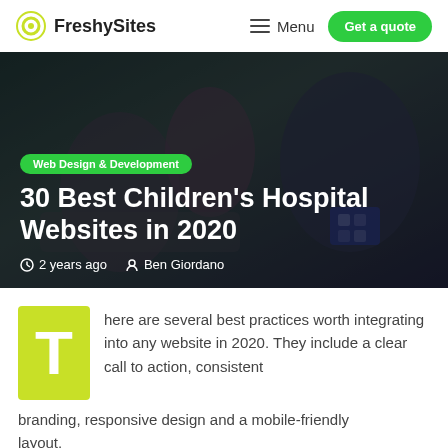FreshySites  Menu  Get a quote
[Figure (photo): Hospital scene showing a child patient in bed with a nurse and parent smiling, dark overlay with article headline overlay]
Web Design & Development
30 Best Children's Hospital Websites in 2020
2 years ago  Ben Giordano
There are several best practices worth integrating into any website in 2020. They include a clear call to action, consistent branding, responsive design and a mobile-friendly layout.